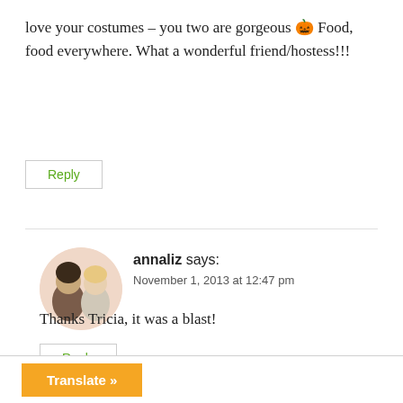love your costumes – you two are gorgeous 🎃 Food, food everywhere. What a wonderful friend/hostess!!!
Reply
annaliz says:
November 1, 2013 at 12:47 pm
[Figure (photo): Circular avatar photo of two women, one a selfie-style photo]
Thanks Tricia, it was a blast!
Reply
Translate »